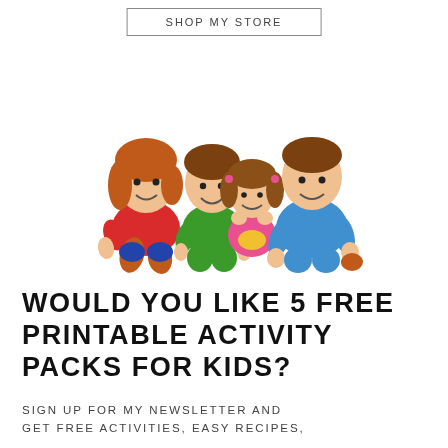SHOP MY STORE
[Figure (illustration): Cartoon emoji-style illustration of a family of four lying down: a mother with red shirt and auburn hair, a boy with green shirt and brown hair, a girl with pink top and pigtails, and a father with blue shirt and brown hair]
WOULD YOU LIKE 5 FREE PRINTABLE ACTIVITY PACKS FOR KIDS?
SIGN UP FOR MY NEWSLETTER AND GET FREE ACTIVITIES, EASY RECIPES,